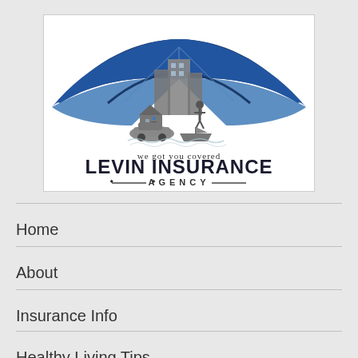[Figure (logo): Levin Insurance Agency logo with blue umbrella, buildings, house, car, and boat beneath. Text reads 'we got you covered' and 'LEVIN INSURANCE AGENCY'.]
Home
About
Insurance Info
Healthy Living Tips